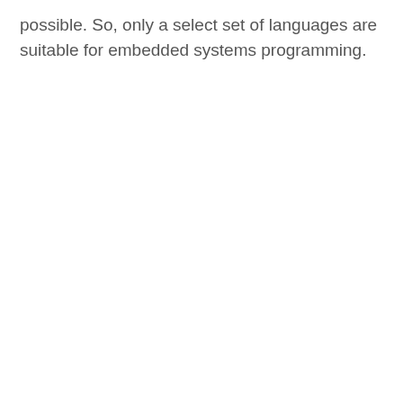possible. So, only a select set of languages are suitable for embedded systems programming.